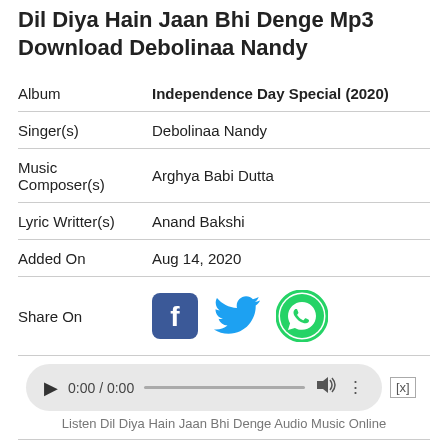Dil Diya Hain Jaan Bhi Denge Mp3 Download Debolinaa Nandy
| Field | Value |
| --- | --- |
| Album | Independence Day Special (2020) |
| Singer(s) | Debolinaa Nandy |
| Music Composer(s) | Arghya Babi Dutta |
| Lyric Writter(s) | Anand Bakshi |
| Added On | Aug 14, 2020 |
| Share On | [Facebook] [Twitter] [WhatsApp] |
[Figure (screenshot): Audio player widget showing 0:00 / 0:00 with play button, progress bar, volume and more options icons]
Listen Dil Diya Hain Jaan Bhi Denge Audio Music Online
Dil Diya Hain Jaan Bhi Denge Mp3 Song Download from Independence Day Special (2020) Music Album. Dil Diya Hain Jaan Bhi Denge Song